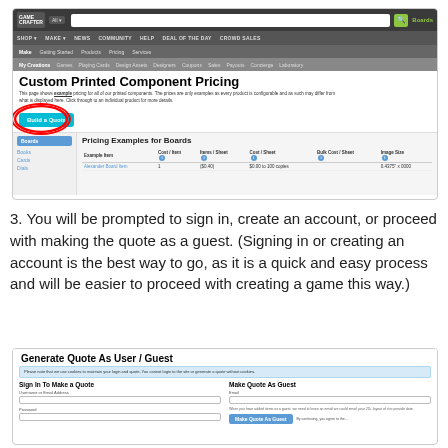[Figure (screenshot): Screenshot of the Game Crafter Custom Printed Component Pricing page showing navigation bars, a 'Build a Quote' button circled in red, and the start of a pricing table for Boards with columns: Example Item, Cost/Item, Items/Sheet, Cost/Sheet, Bulk Cost/Sheet, Image Size]
3. You will be prompted to sign in, create an account, or proceed with making the quote as a guest.  (Signing in or creating an account is the best way to go, as it is a quick and easy process and will be easier to proceed with creating a game this way.)
[Figure (screenshot): Screenshot of 'Generate Quote As User / Guest' page showing a notice bar about cookies, two columns: 'Sign In To Make a Quote' with Username or Email Address and Password fields, and 'Make Quote As Guest' with Email field and a note about guest quotes]